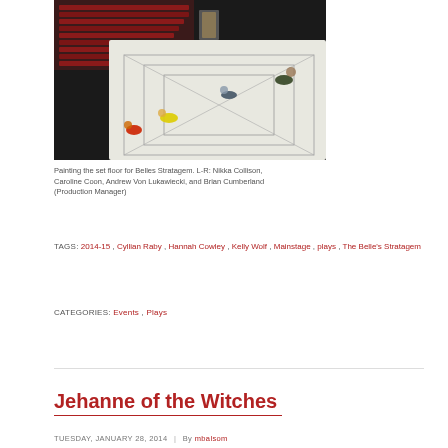[Figure (photo): People painting the set floor in a theater, viewed from above. Red theater seats visible in background. Several people kneeling on a large white canvas floor with geometric painted lines.]
Painting the set floor for Belles Stratagem. L-R: Nikka Collison, Caroline Coon, Andrew Von Lukawiecki, and Brian Cumberland (Production Manager)
TAGS: 2014-15, Cyllian Raby, Hannah Cowley, Kelly Wolf, Mainstage, plays, The Belle's Stratagem
CATEGORIES: Events, Plays
Jehanne of the Witches
TUESDAY, JANUARY 28, 2014 | By mbalsom